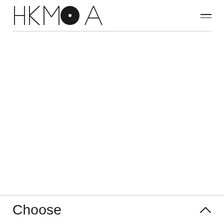[Figure (logo): HKMOA logo — stylized letters H, K, M, O (filled black circle with white dot), A in thin sans-serif uppercase]
Choose